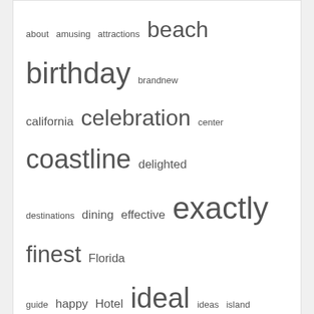[Figure (other): Word cloud containing terms of varying sizes: about, amusing, attractions, beach, birthday, brandnew, california, celebration, center, coastline, delighted, destinations, dining, effective, exactly, finest, Florida, guide, happy, Hotel, ideal, ideas, island, leading, messages, minecraft, national, online, parks, pizza, pleased, points, prices, quotes, resort, restaurant, satisfied, shopping, state, states, suggestions, things, united, valley, wishes]
You may Missed
UNCATEGORIZED
40+ Sunflower Quotes And Also Phrases To Bring Happiness